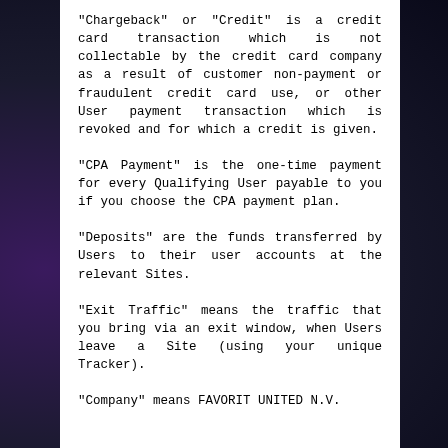“Chargeback” or “Credit” is a credit card transaction which is not collectable by the credit card company as a result of customer non-payment or fraudulent credit card use, or other User payment transaction which is revoked and for which a credit is given.
“CPA Payment” is the one-time payment for every Qualifying User payable to you if you choose the CPA payment plan.
“Deposits” are the funds transferred by Users to their user accounts at the relevant Sites.
“Exit Traffic” means the traffic that you bring via an exit window, when Users leave a Site (using your unique Tracker).
“Company” means FAVORIT UNITED N.V.